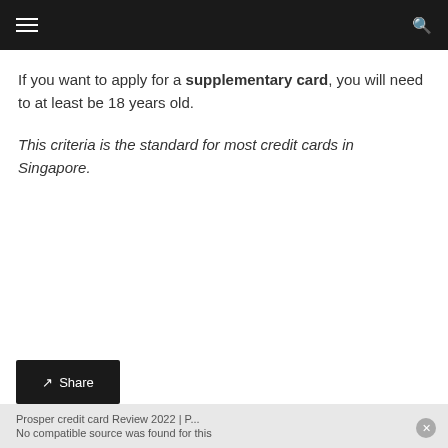If you want to apply for a supplementary card, you will need to at least be 18 years old.
This criteria is the standard for most credit cards in Singapore.
Share | Prosper credit card Review 2022 | P... | No compatible source was found for this